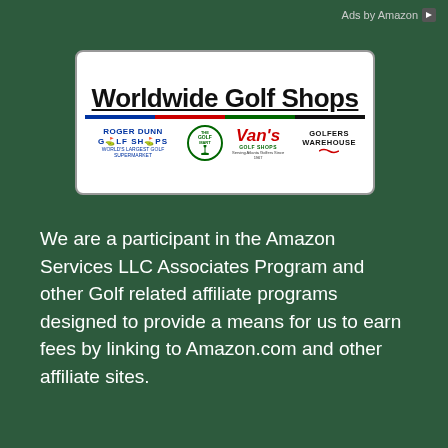Ads by Amazon
[Figure (logo): Worldwide Golf Shops banner advertisement featuring sub-brands: Roger Dunn Golf Shops, The Golf Mart, Van's Golf Shops, and Golfers Warehouse]
We are a participant in the Amazon Services LLC Associates Program and other Golf related affiliate programs designed to provide a means for us to earn fees by linking to Amazon.com and other affiliate sites.